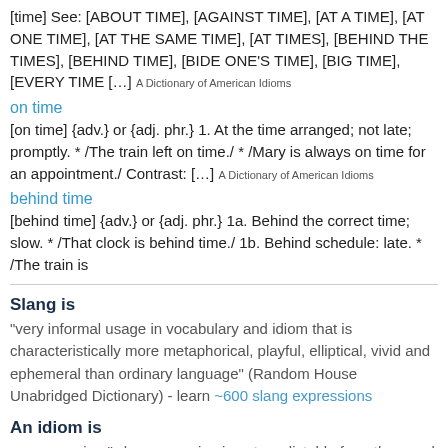[time] See: [ABOUT TIME], [AGAINST TIME], [AT A TIME], [AT ONE TIME], [AT THE SAME TIME], [AT TIMES], [BEHIND THE TIMES], [BEHIND TIME], [BIDE ONE'S TIME], [BIG TIME], [EVERY TIME […] A Dictionary of American Idioms
on time
[on time] {adv.} or {adj. phr.} 1. At the time arranged; not late; promptly. * /The train left on time./ * /Mary is always on time for an appointment./ Contrast: […] A Dictionary of American Idioms
behind time
[behind time] {adv.} or {adj. phr.} 1a. Behind the correct time; slow. * /That clock is behind time./ 1b. Behind schedule: late. * /The train is
Slang is
"very informal usage in vocabulary and idiom that is characteristically more metaphorical, playful, elliptical, vivid and ephemeral than ordinary language" (Random House Unabridged Dictionary) - learn ~600 slang expressions
An idiom is
an expression "whose meaning is not predictable from the usual meanings of its constituent elements… or from the general